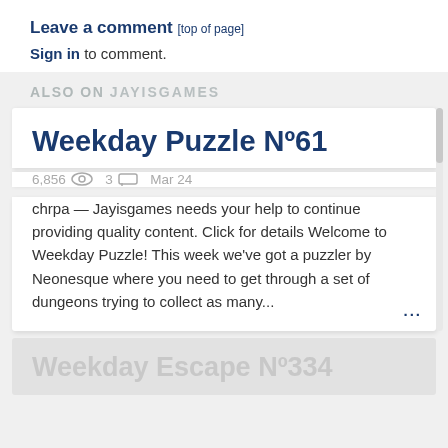Leave a comment [top of page]
Sign in to comment.
ALSO ON JAYISGAMES
Weekday Puzzle Nº61
6,856  3  Mar 24
chrpa — Jayisgames needs your help to continue providing quality content. Click for details Welcome to Weekday Puzzle! This week we've got a puzzler by Neonesque where you need to get through a set of dungeons trying to collect as many...
Weekday Escape Nº334